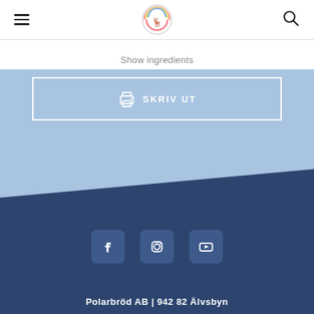[Figure (logo): Polarbröd circular logo with rainbow and reindeer]
Show ingredients
SKRIV UT
[Figure (illustration): Light blue angled background section]
[Figure (illustration): Dark navy blue footer background]
[Figure (illustration): Social media icons: Facebook, Instagram, YouTube]
Polarbröd AB  |  942 82 Älvsbyn